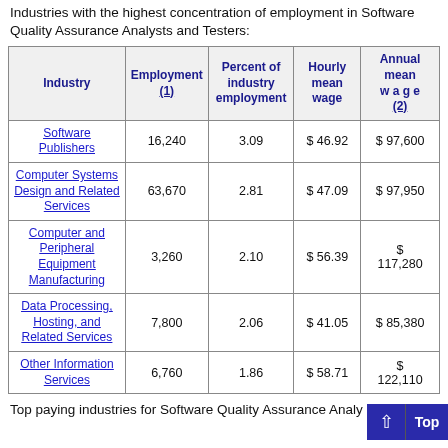Industries with the highest concentration of employment in Software Quality Assurance Analysts and Testers:
| Industry | Employment (1) | Percent of industry employment | Hourly mean wage | Annual mean wage (2) |
| --- | --- | --- | --- | --- |
| Software Publishers | 16,240 | 3.09 | $ 46.92 | $ 97,600 |
| Computer Systems Design and Related Services | 63,670 | 2.81 | $ 47.09 | $ 97,950 |
| Computer and Peripheral Equipment Manufacturing | 3,260 | 2.10 | $ 56.39 | $ 117,280 |
| Data Processing, Hosting, and Related Services | 7,800 | 2.06 | $ 41.05 | $ 85,380 |
| Other Information Services | 6,760 | 1.86 | $ 58.71 | $ 122,110 |
Top paying industries for Software Quality Assurance Analysts and Testers: